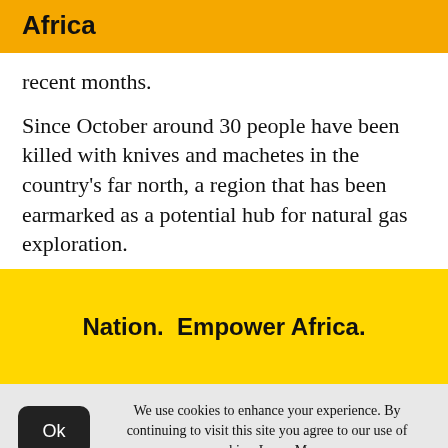Africa
recent months.
Since October around 30 people have been killed with knives and machetes in the country's far north, a region that has been earmarked as a potential hub for natural gas exploration.
[Figure (other): Yellow banner advertisement reading 'Nation. Empower Africa.']
We use cookies to enhance your experience. By continuing to visit this site you agree to our use of cookies. Learn More